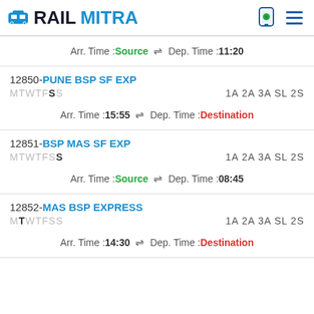RAILMITRA
Arr. Time :Source ⇌ Dep. Time :11:20
12850-PUNE BSP SF EXP MTWTFSS 1A 2A 3A SL 2S Arr. Time :15:55 ⇌ Dep. Time :Destination
12851-BSP MAS SF EXP MTWTFSS 1A 2A 3A SL 2S Arr. Time :Source ⇌ Dep. Time :08:45
12852-MAS BSP EXPRESS MTWTFSS 1A 2A 3A SL 2S Arr. Time :14:30 ⇌ Dep. Time :Destination